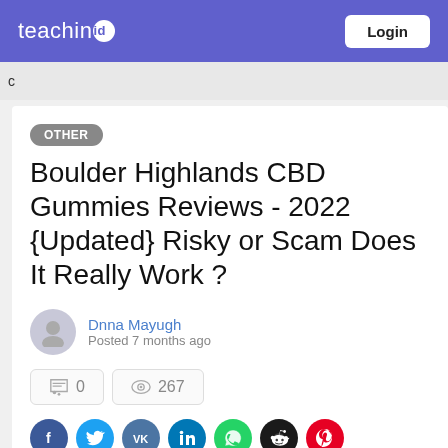teachin.id  Login
c
OTHER
Boulder Highlands CBD Gummies Reviews - 2022 {Updated} Risky or Scam Does It Really Work ?
Dnna Mayugh
Posted 7 months ago
0  267
[Figure (infographic): Social sharing icons row: Facebook (blue), Twitter (light blue), VK (steel blue), LinkedIn (dark blue), WhatsApp (green), Reddit (black), Pinterest (red)]